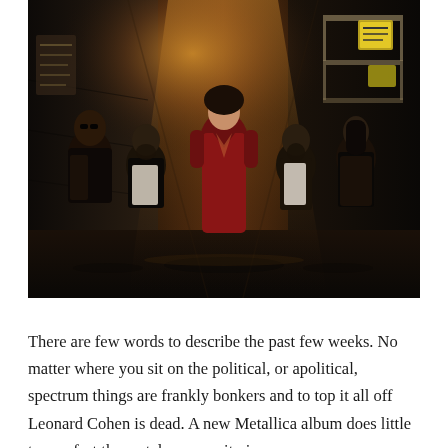[Figure (photo): A rock band posing in a dark urban alleyway at night. A woman in a red deep-V jumpsuit stands at center, flanked by four long-haired men in dark clothing and leather jackets. Street signs and fire escapes visible in background.]
There are few words to describe the past few weeks. No matter where you sit on the political, or apolitical, spectrum things are frankly bonkers and to top it all off Leonard Cohen is dead. A new Metallica album does little to comfort the metal community in